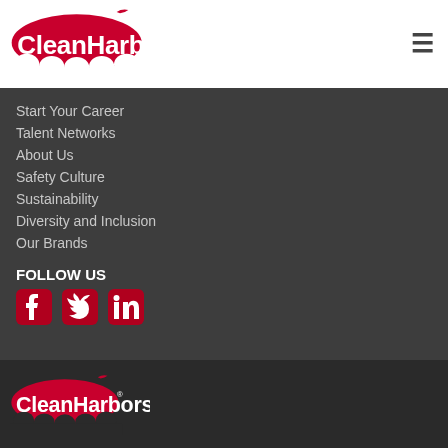[Figure (logo): Clean Harbors logo, red lettering with wave design on white background]
Start Your Career
Talent Networks
About Us
Safety Culture
Sustainability
Diversity and Inclusion
Our Brands
FOLLOW US
[Figure (illustration): Social media icons: Facebook, Twitter, LinkedIn in crimson red]
[Figure (logo): Clean Harbors logo, red lettering on dark background at page bottom]